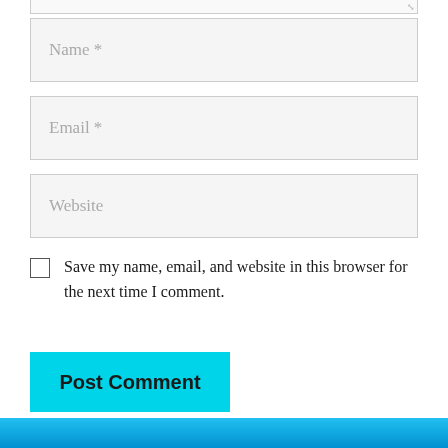Name *
Email *
Website
Save my name, email, and website in this browser for the next time I comment.
Post Comment